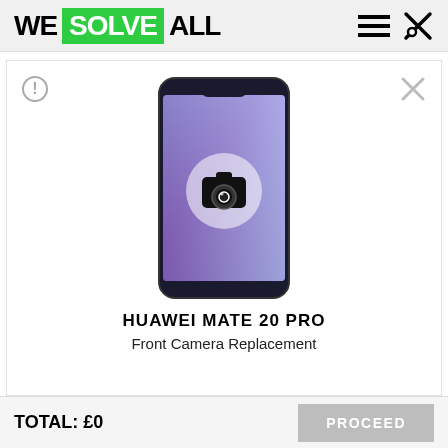WE SOLVE ALL
[Figure (illustration): Huawei Mate 20 Pro smartphone with a camera replacement icon overlay on the screen, showing a purple/blue nature wallpaper]
HUAWEI MATE 20 PRO
Front Camera Replacement
TOTAL: £0   PROCEED